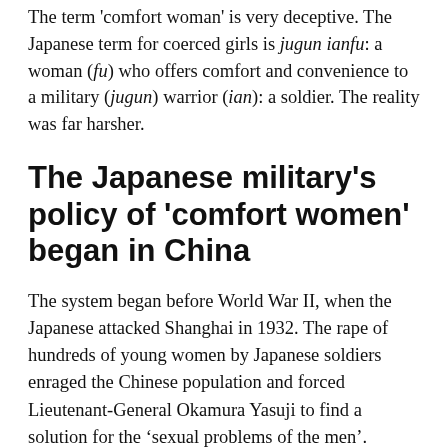The term 'comfort woman' is very deceptive. The Japanese term for coerced girls is jugun ianfu: a woman (fu) who offers comfort and convenience to a military (jugun) warrior (ian): a soldier. The reality was far harsher.
The Japanese military's policy of 'comfort women' began in China
The system began before World War II, when the Japanese attacked Shanghai in 1932. The rape of hundreds of young women by Japanese soldiers enraged the Chinese population and forced Lieutenant-General Okamura Yasuji to find a solution for the ‘sexual problems of the men’.
As Okamura’s naval colleagues in Shanghai had recently opened their own brothels, he decided to open a so-called ‘comfort station’—a euphemism